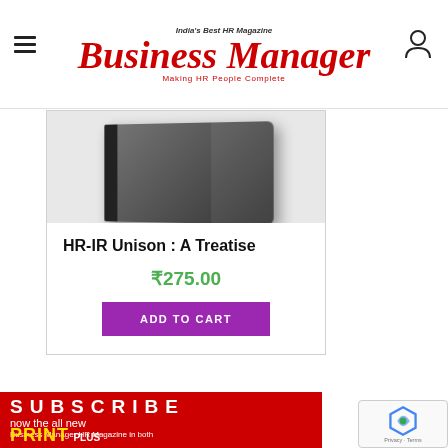India's Best HR Magazine — Business Manager — Making HR People Complete
[Figure (photo): Product card showing book titled HR-IR Unison : A Treatise with price ₹275.00 and Add to Cart button]
HR-IR Unison : A Treatise
₹275.00
ADD TO CART
[Figure (infographic): Red subscription banner: SUBSCRIBE now the all new Business Manager HR Magazine in both PRINT PLUS DIGITAL, with images of print and digital magazine versions]